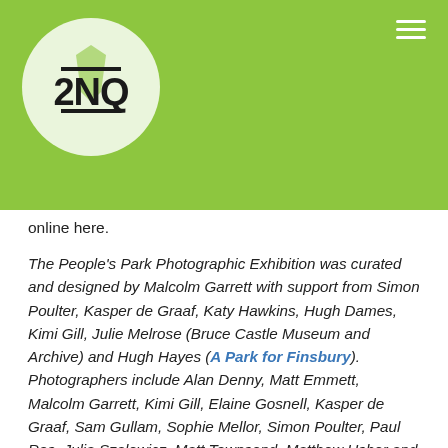[Figure (logo): 2NQ logo: white circle on green background with stylized '2NQ' text in bold black with horizontal lines above and below]
online here.
The People's Park Photographic Exhibition was curated and designed by Malcolm Garrett with support from Simon Poulter, Kasper de Graaf, Katy Hawkins, Hugh Dames, Kimi Gill, Julie Melrose (Bruce Castle Museum and Archive) and Hugh Hayes (A Park for Finsbury). Photographers include Alan Denny, Matt Emmett, Malcolm Garrett, Kimi Gill, Elaine Gosnell, Kasper de Graaf, Sam Gullam, Sophie Mellor, Simon Poulter, Paul Ros, Julia Szalewicz, Matt Townsend, Matthew Usher and a host of unsung heroes whose archive images form the backbone of this exhibition. Thanks to Jonathan Wells for fabricating the A-frames, and to Josh & the team at Captain Cyan for printing the panels.
Thanks for support and contributions to the programme are also due to Nicola Baird, Mike Barson, Susie Barson, Joanna